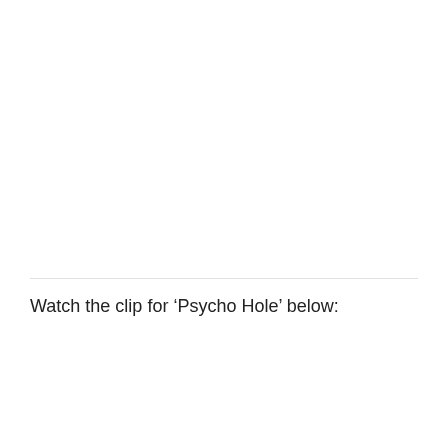Watch the clip for ‘Psycho Hole’ below:
[Figure (screenshot): YouTube video card for ASHWARYA - PSYCHO HOLE, showing a circular artist avatar with a dark green/black image on the left, white bold text reading 'ASHWARYA - PSYCHO HOLE' in the center, a three-dot menu icon on the right, and a dark thumbnail with a red glow visible at the bottom.]